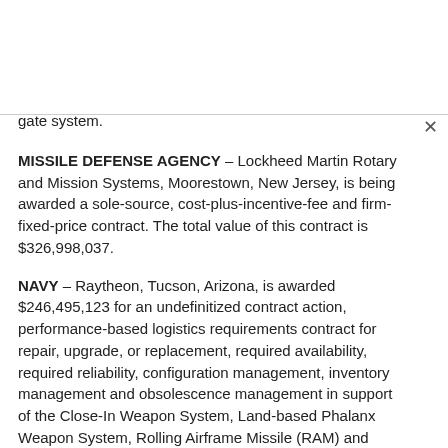gate system.
MISSILE DEFENSE AGENCY – Lockheed Martin Rotary and Mission Systems, Moorestown, New Jersey, is being awarded a sole-source, cost-plus-incentive-fee and firm-fixed-price contract. The total value of this contract is $326,998,037.
NAVY – Raytheon, Tucson, Arizona, is awarded $246,495,123 for an undefinitized contract action, performance-based logistics requirements contract for repair, upgrade, or replacement, required availability, required reliability, configuration management, inventory management and obsolescence management in support of the Close-In Weapon System, Land-based Phalanx Weapon System, Rolling Airframe Missile (RAM) and SeaRAM.